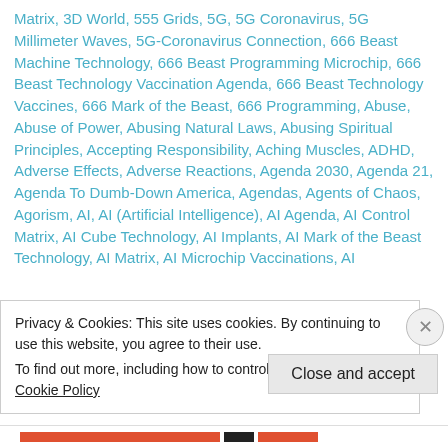Matrix, 3D World, 555 Grids, 5G, 5G Coronavirus, 5G Millimeter Waves, 5G-Coronavirus Connection, 666 Beast Machine Technology, 666 Beast Programming Microchip, 666 Beast Technology Vaccination Agenda, 666 Beast Technology Vaccines, 666 Mark of the Beast, 666 Programming, Abuse, Abuse of Power, Abusing Natural Laws, Abusing Spiritual Principles, Accepting Responsibility, Aching Muscles, ADHD, Adverse Effects, Adverse Reactions, Agenda 2030, Agenda 21, Agenda To Dumb-Down America, Agendas, Agents of Chaos, Agorism, AI, AI (Artificial Intelligence), AI Agenda, AI Control Matrix, AI Cube Technology, AI Implants, AI Mark of the Beast Technology, AI Matrix, AI Microchip Vaccinations, AI
Privacy & Cookies: This site uses cookies. By continuing to use this website, you agree to their use.
To find out more, including how to control cookies, see here: Cookie Policy
Close and accept